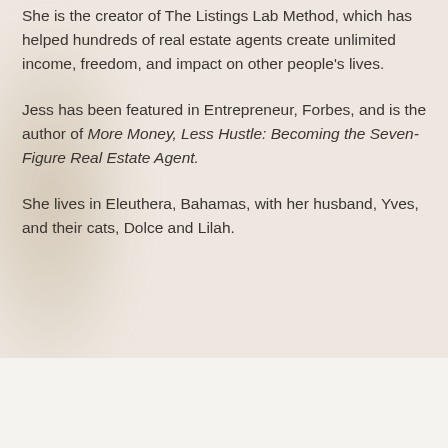She is the creator of The Listings Lab Method, which has helped hundreds of real estate agents create unlimited income, freedom, and impact on other people's lives.
Jess has been featured in Entrepreneur, Forbes, and is the author of More Money, Less Hustle: Becoming the Seven-Figure Real Estate Agent.
She lives in Eleuthera, Bahamas, with her husband, Yves, and their cats, Dolce and Lilah.